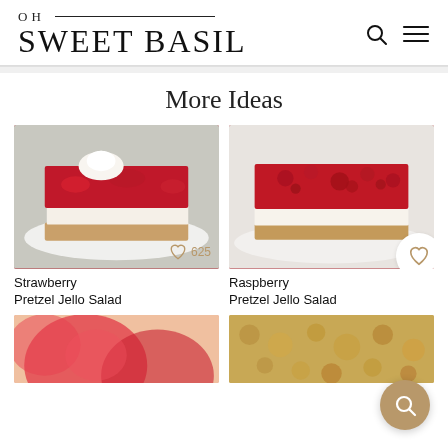OH SWEET BASIL
More Ideas
[Figure (photo): Strawberry Pretzel Jello Salad slice on a white plate with whipped cream topping, showing layers of jello, cream filling, and pretzel crust]
Strawberry Pretzel Jello Salad
[Figure (photo): Raspberry Pretzel Jello Salad slice on a white plate showing layers of raspberry jello topping, cream cheese filling, and pretzel crust]
Raspberry Pretzel Jello Salad
[Figure (photo): Close-up of fresh strawberries, partially visible at bottom of page]
[Figure (photo): Close-up of granola or crumble mixture, partially visible at bottom right of page]